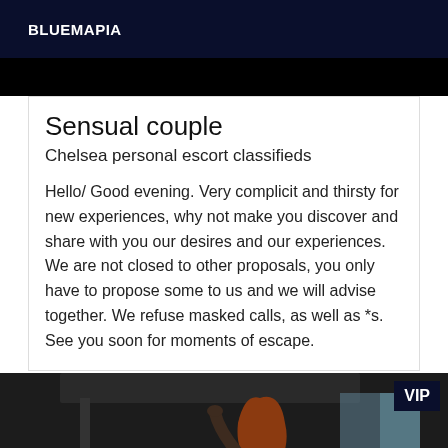BLUEMAPIA
[Figure (photo): Dark black banner/bar at top of listing card]
Sensual couple
Chelsea personal escort classifieds
Hello/ Good evening. Very complicit and thirsty for new experiences, why not make you discover and share with you our desires and our experiences. We are not closed to other proposals, you only have to propose some to us and we will advise together. We refuse masked calls, as well as *s. See you soon for moments of escape.
[Figure (photo): Photo of a woman with red/auburn hair raising her arm, dark industrial background, VIP badge in top right corner]